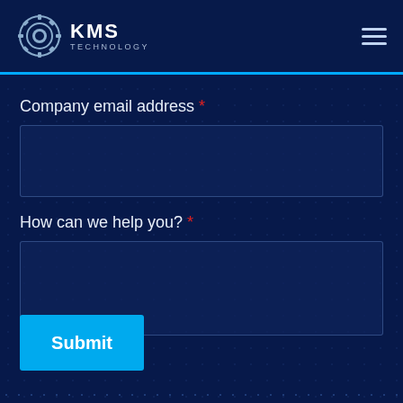[Figure (logo): KMS Technology logo with gear icon and text 'KMS TECHNOLOGY' in white on dark navy background]
Company email address *
How can we help you? *
Submit